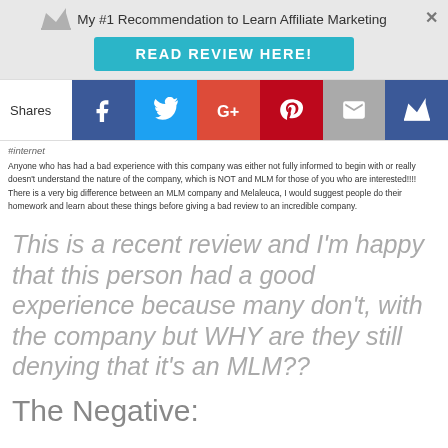My #1 Recommendation to Learn Affiliate Marketing
READ REVIEW HERE!
[Figure (infographic): Social share bar with Facebook, Twitter, Google+, Pinterest, Email, and Crown icons]
Anyone who has had a bad experience with this company was either not fully informed to begin with or really doesn't understand the nature of the company, which is NOT and MLM for those of you who are interested!!!! There is a very big difference between an MLM company and Melaleuca, I would suggest people do their homework and learn about these things before giving a bad review to an incredible company.
This is a recent review and I'm happy that this person had a good experience because many don't, with the company but WHY are they still denying that it's an MLM??
The Negative: